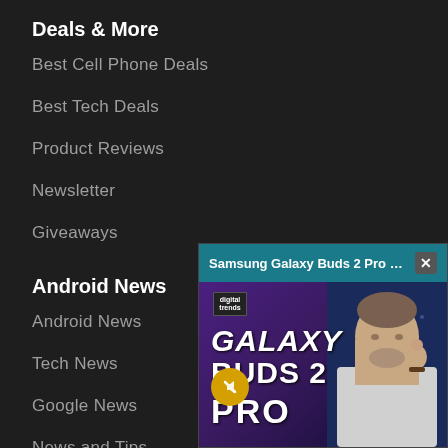Deals & More
Best Cell Phone Deals
Best Tech Deals
Product Reviews
Newsletter
Giveaways
Android News
Android News
Tech News
Google News
News and Tips
All News
Android App & Games
[Figure (screenshot): Floating video player popup showing Samsung Galaxy Buds 2 Pro review video with title bar reading 'Samsung Galaxy Buds 2 Pro review | Gr...' with a close button, and a thumbnail showing GALAXY BUDS 2 PRO text with a presenter holding a Galaxy Bud, Digital Trends logo visible, mute button overlaid.]